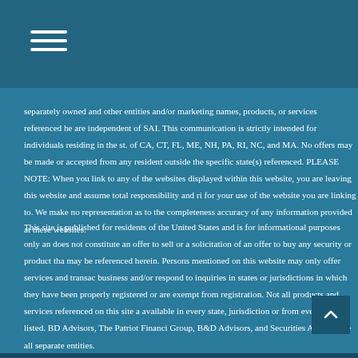separately owned and other entities and/or marketing names, products, or services referenced here are independent of SAI. This communication is strictly intended for individuals residing in the st. of CA, CT, FL, ME, NH, PA, RI, NC, and MA. No offers may be made or accepted from any resident outside the specific state(s) referenced. PLEASE NOTE: When you link to any of the websites displayed within this website, you are leaving this website and assume total responsibility and ri for your use of the website you are linking to. We make no representation as to the completeness accuracy of any information provided at these websites.
This site is published for residents of the United States and is for informational purposes only an does not constitute an offer to sell or a solicitation of an offer to buy any security or product tha may be referenced herein. Persons mentioned on this website may only offer services and transac business and/or respond to inquiries in states or jurisdictions in which they have been properly registered or are exempt from registration. Not all products and services referenced on this site a available in every state, jurisdiction or from every person listed. BD Advisors, The Patriot Financi Group, B&D Advisors, and Securities America are all separate entities.